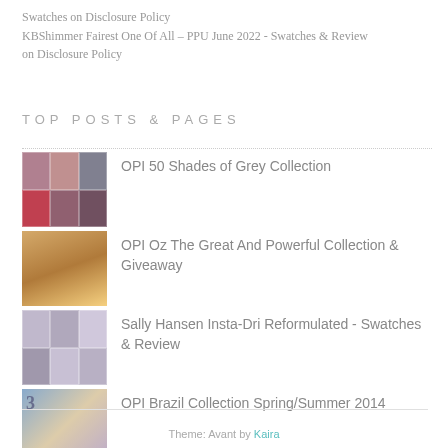Swatches on Disclosure Policy
KBShimmer Fairest One Of All – PPU June 2022 - Swatches & Review on Disclosure Policy
TOP POSTS & PAGES
OPI 50 Shades of Grey Collection
OPI Oz The Great And Powerful Collection & Giveaway
Sally Hansen Insta-Dri Reformulated - Swatches & Review
OPI Brazil Collection Spring/Summer 2014
OPI Nordic Collection
Theme: Avant by Kaira